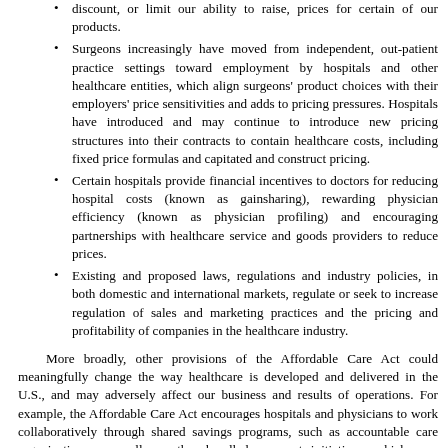discount, or limit our ability to raise, prices for certain of our products.
Surgeons increasingly have moved from independent, out-patient practice settings toward employment by hospitals and other healthcare entities, which align surgeons' product choices with their employers' price sensitivities and adds to pricing pressures. Hospitals have introduced and may continue to introduce new pricing structures into their contracts to contain healthcare costs, including fixed price formulas and capitated and construct pricing.
Certain hospitals provide financial incentives to doctors for reducing hospital costs (known as gainsharing), rewarding physician efficiency (known as physician profiling) and encouraging partnerships with healthcare service and goods providers to reduce prices.
Existing and proposed laws, regulations and industry policies, in both domestic and international markets, regulate or seek to increase regulation of sales and marketing practices and the pricing and profitability of companies in the healthcare industry.
More broadly, other provisions of the Affordable Care Act could meaningfully change the way healthcare is developed and delivered in the U.S., and may adversely affect our business and results of operations. For example, the Affordable Care Act encourages hospitals and physicians to work collaboratively through shared savings programs, such as accountable care organizations, as well as other bundled payment initiatives, which may ultimately result in the reduction of medical device purchases and the consolidation of medical device suppliers used by hospitals. There are many